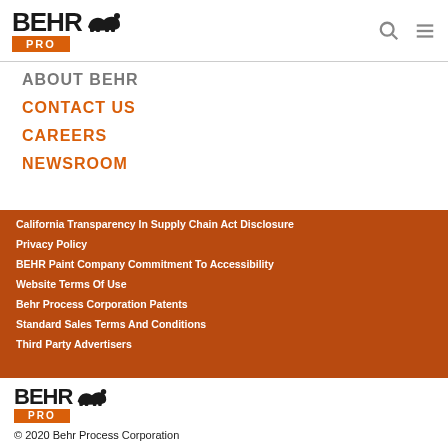[Figure (logo): BEHR PRO logo with bear icon in header]
ABOUT BEHR
CONTACT US
CAREERS
NEWSROOM
California Transparency In Supply Chain Act Disclosure
Privacy Policy
BEHR Paint Company Commitment To Accessibility
Website Terms Of Use
Behr Process Corporation Patents
Standard Sales Terms And Conditions
Third Party Advertisers
[Figure (logo): BEHR PRO logo with bear icon in footer]
© 2020 Behr Process Corporation